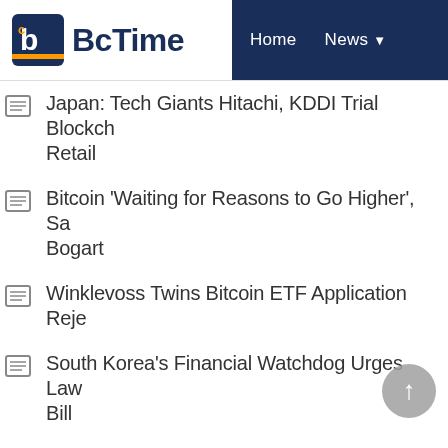BcTime — Home | News
Japan: Tech Giants Hitachi, KDDI Trial Blockchain Retail
Bitcoin 'Waiting for Reasons to Go Higher', Sa... Bogart
Winklevoss Twins Bitcoin ETF Application Reje...
South Korea's Financial Watchdog Urges Law... Bill
Mastercard CEO Calls Anonymous Cryptocurr...
Swiss Crypto Mining Firm Faces Enforcement...
BRICS Summit: Major Banks From Member S...